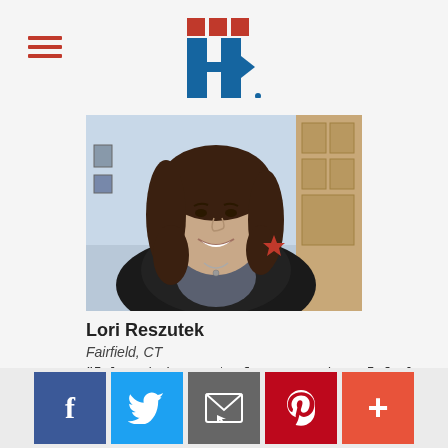Hillary for America logo and navigation
[Figure (photo): Portrait photo of Lori Reszutek, a woman with curly dark hair, smiling, wearing a dark jacket with a red star pin and a necklace, photographed in a home interior setting.]
Lori Reszutek
Fairfield, CT
"I love being part of a group where I feel a true kinship to the other members."
Find out more about Lori Reszutek›
Social sharing buttons: Facebook, Twitter, Email, Pinterest, More